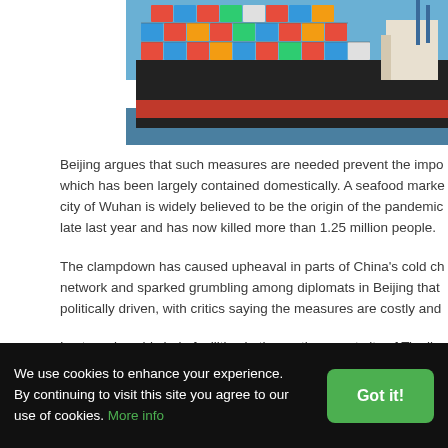[Figure (photo): A large cargo container ship loaded with stacked colorful shipping containers, photographed from the side near a port. The ship has a black hull with a red waterline. Blue sky visible above.]
Beijing argues that such measures are needed prevent the impo which has been largely contained domestically. A seafood marke city of Wuhan is widely believed to be the origin of the pandemic late last year and has now killed more than 1.25 million people.
The clampdown has caused upheaval in parts of China's cold ch network and sparked grumbling among diplomats in Beijing that politically driven, with critics saying the measures are costly and
Last week, cold chain facilities in the northern port city of Tianjin when a 38-year-old frozen food worker who tested positive for th linked to a 28.1 tonne shipment of frozen German pork knuckles
We use cookies to enhance your experience. By continuing to visit this site you agree to our use of cookies. More info